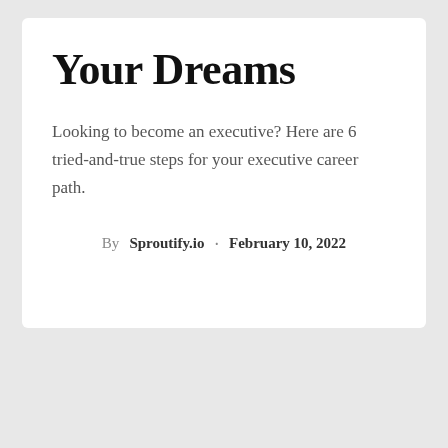Your Dreams
Looking to become an executive? Here are 6 tried-and-true steps for your executive career path.
By Sproutify.io · February 10, 2022